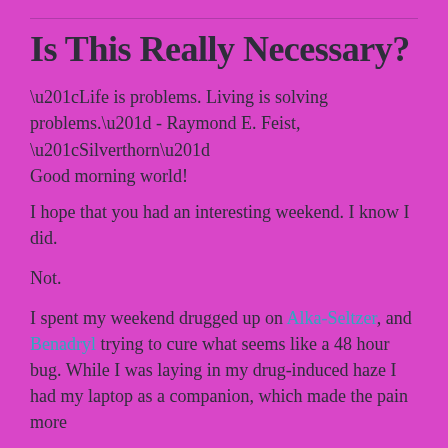Is This Really Necessary?
“Life is problems. Living is solving problems.” - Raymond E. Feist, “Silverthorn”
Good morning world!
I hope that you had an interesting weekend. I know I did.
Not.
I spent my weekend drugged up on Alka-Seltzer, and Benadryl trying to cure what seems like a 48 hour bug. While I was laying in my drug-induced haze I had my laptop as a companion, which made the pain more